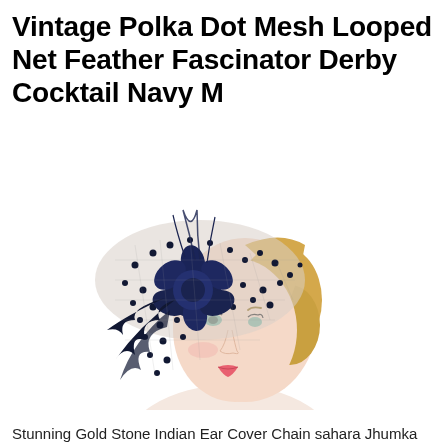Vintage Polka Dot Mesh Looped Net Feather Fascinator Derby Cocktail Navy M
[Figure (photo): A blonde woman wearing a navy blue polka dot mesh fascinator hat with feathers and a looped net, styled on her head, smiling, against a white background.]
Stunning Gold Stone Indian Ear Cover Chain sahara Jhumka